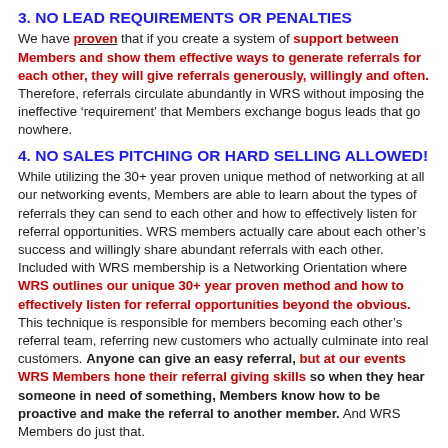3. NO LEAD REQUIREMENTS OR PENALTIES
We have proven that if you create a system of support between Members and show them effective ways to generate referrals for each other, they will give referrals generously, willingly and often. Therefore, referrals circulate abundantly in WRS without imposing the ineffective ‘requirement’ that Members exchange bogus leads that go nowhere.
4. NO SALES PITCHING OR HARD SELLING ALLOWED!
While utilizing the 30+ year proven unique method of networking at all our networking events, Members are able to learn about the types of referrals they can send to each other and how to effectively listen for referral opportunities. WRS members actually care about each other’s success and willingly share abundant referrals with each other. Included with WRS membership is a Networking Orientation where WRS outlines our unique 30+ year proven method and how to effectively listen for referral opportunities beyond the obvious. This technique is responsible for members becoming each other’s referral team, referring new customers who actually culminate into real customers. Anyone can give an easy referral, but at our events WRS Members hone their referral giving skills so when they hear someone in need of something, Members know how to be proactive and make the referral to another member. And WRS Members do just that.
5. ALL WRS MEMBERS ARE PRE – QUALIFIED
Before WRS Members are approved and receive the WRS Seal of Approval, they complete an application process which asks for 3